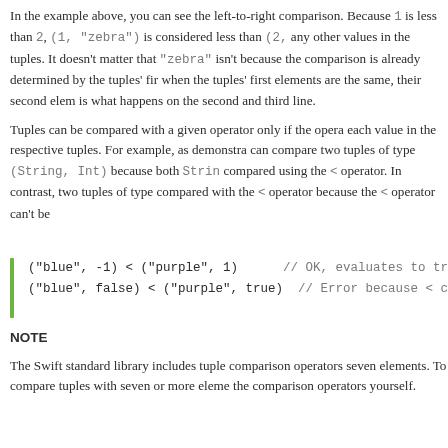In the example above, you can see the left-to-right comparison. Because 1 is less than 2, (1, "zebra") is considered less than (2, any other values in the tuples. It doesn't matter that "zebra" isn't because the comparison is already determined by the tuples' fir when the tuples' first elements are the same, their second elem is what happens on the second and third line.
Tuples can be compared with a given operator only if the opera each value in the respective tuples. For example, as demonstra can compare two tuples of type (String, Int) because both Strin compared using the < operator. In contrast, two tuples of type compared with the < operator because the < operator can't be
("blue", -1) < ("purple", 1)      // OK, evaluates to true
("blue", false) < ("purple", true)  // Error because < can't comp
NOTE
The Swift standard library includes tuple comparison operators seven elements. To compare tuples with seven or more eleme the comparison operators yourself.